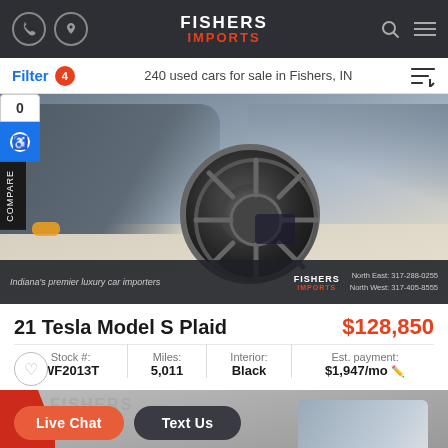Fishers Imports
Filter 4 — 240 used cars for sale in Fishers, IN
[Figure (photo): Close-up photo of a grey Tesla Model S Plaid showing the front bumper and wheel, taken indoors at a car dealership. Dealer banner at the bottom reads: Indiana's premier luxury car importers — Fishers Imports — North East: 317-288-0255, North West: 317-405-8555]
21 Tesla Model S Plaid   $128,850
| Stock #: | Miles: | Interior: | Est. payment: |
| --- | --- | --- | --- |
| WF2013T | 5,011 | Black | $1,947/mo |
[Figure (photo): Bottom strip showing partial view of another car listing with Fishers Imports watermark logo and red stripe on the left side. Live Chat and Text Us buttons are visible.]